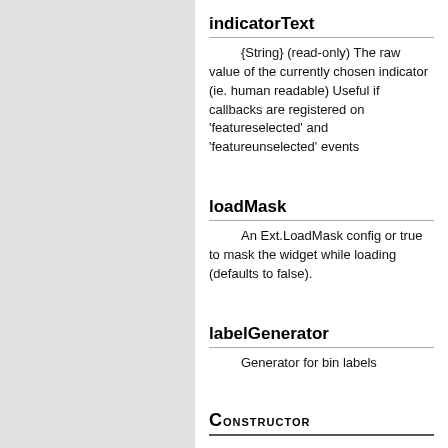indicatorText
{String} (read-only) The raw value of the currently chosen indicator (ie. human readable) Useful if callbacks are registered on 'featureselected' and 'featureunselected' events
loadMask
An Ext.LoadMask config or true to mask the widget while loading (defaults to false).
labelGenerator
Generator for bin labels
Constructor